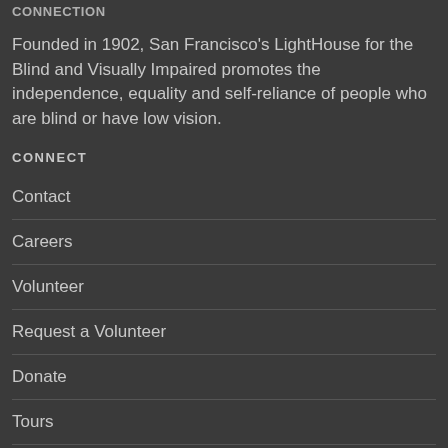CONNECTION
Founded in 1902, San Francisco's LightHouse for the Blind and Visually Impaired promotes the independence, equality and self-reliance of people who are blind or have low vision.
CONNECT
Contact
Careers
Volunteer
Request a Volunteer
Donate
Tours
Press